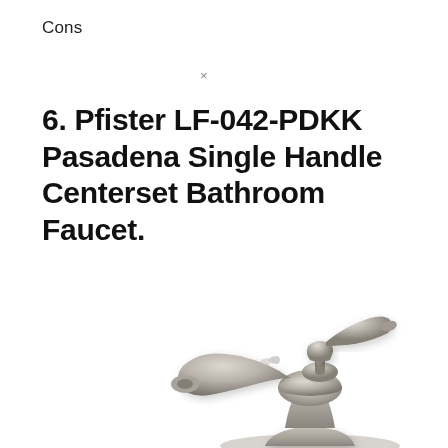Cons
×
6. Pfister LF-042-PDKK Pasadena Single Handle Centerset Bathroom Faucet.
[Figure (photo): Brushed nickel Pfister Pasadena single handle centerset bathroom faucet shown from a slightly elevated angle, with a curved spout and single lever handle on a pedestal base.]